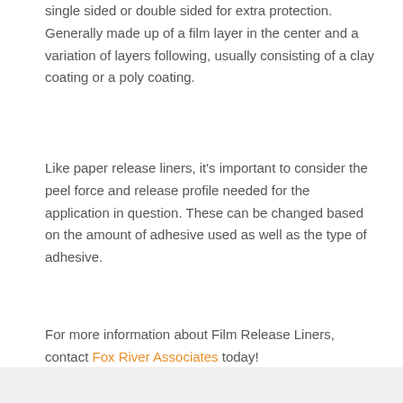single sided or double sided for extra protection. Generally made up of a film layer in the center and a variation of layers following, usually consisting of a clay coating or a poly coating.
Like paper release liners, it's important to consider the peel force and release profile needed for the application in question. These can be changed based on the amount of adhesive used as well as the type of adhesive.
For more information about Film Release Liners, contact Fox River Associates today!